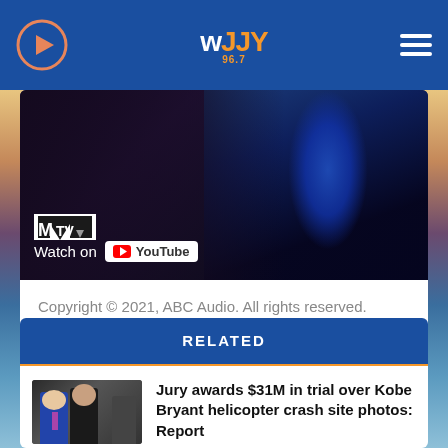WJJY 96.7
[Figure (screenshot): YouTube video thumbnail showing a person with blue hair and the MTV logo with Watch on YouTube overlay]
Copyright © 2021, ABC Audio. All rights reserved.
RELATED
[Figure (photo): Photo of people in formal attire walking together]
Jury awards $31M in trial over Kobe Bryant helicopter crash site photos: Report